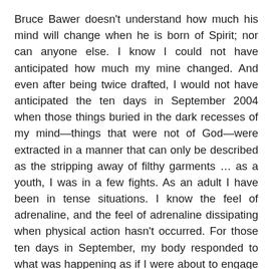Bruce Bawer doesn't understand how much his mind will change when he is born of Spirit; nor can anyone else. I know I could not have anticipated how much my mine changed. And even after being twice drafted, I would not have anticipated the ten days in September 2004 when those things buried in the dark recesses of my mind—things that were not of God—were extracted in a manner that can only be described as the stripping away of filthy garments … as a youth, I was in a few fights. As an adult I have been in tense situations. I know the feel of adrenaline, and the feel of adrenaline dissipating when physical action hasn't occurred. For those ten days in September, my body responded to what was happening as if I were about to engage in a fight. Adrenaline ran. But nothing physical occurred or was even likely to occur. And my muscles trembled, severely at times, because of the absence of physical activity—the fight was entirely within my mind and in a dimension I could not